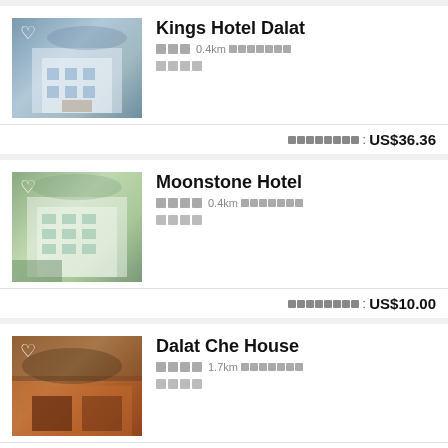[Figure (photo): Hotel building photo for Kings Hotel Dalat]
Kings Hotel Dalat
0.4km
US$36.36
[Figure (photo): Hotel building photo for Moonstone Hotel]
Moonstone Hotel
0.4km
US$10.00
[Figure (photo): Storefront photo for Dalat Che House]
Dalat Che House
1.7km
US$7.34